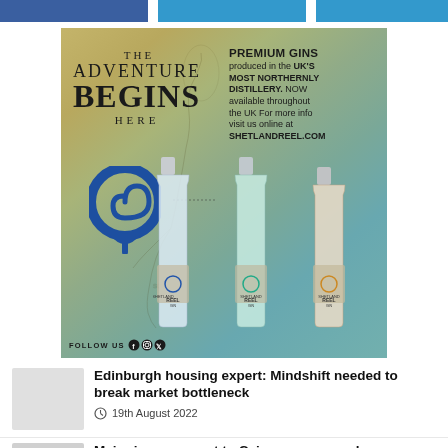[Figure (illustration): Advertisement for Shetland Reel premium gin. Background is a vintage map of Scotland/Shetland in golden-green-teal tones. Left side shows text: THE ADVENTURE BEGINS HERE with a blue spiral location pin logo. Right side shows: PREMIUM GINS produced in the UK'S MOST NORTHERNLY DISTILLERY. NOW available throughout the UK For more info visit us online at SHETLANDREEL.COM. Three gin bottles shown at bottom. FOLLOW US with social media icons at bottom left.]
Edinburgh housing expert: Mindshift needed to break market bottleneck
19th August 2022
Major improvement to Cairngorm car park